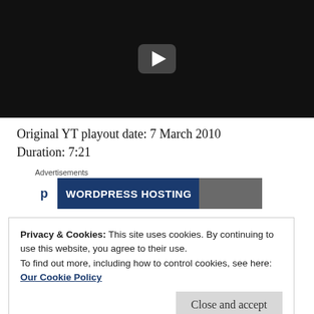[Figure (screenshot): Video thumbnail showing dark aerial night footage with a YouTube-style play button overlay]
Original YT playout date: 7 March 2010
Duration: 7:21
Advertisements
[Figure (screenshot): Advertisement banner for WordPress Hosting with logo and partial image on the right]
Privacy & Cookies: This site uses cookies. By continuing to use this website, you agree to their use.
To find out more, including how to control cookies, see here: Our Cookie Policy
about a year back. I also have more footage of